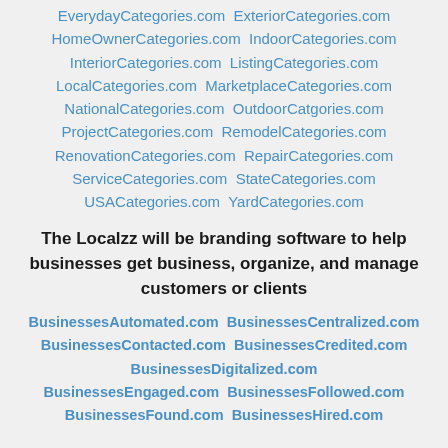EverydayCategories.com  ExteriorCategories.com  HomeOwnerCategories.com  IndoorCategories.com  InteriorCategories.com  ListingCategories.com  LocalCategories.com  MarketplaceCategories.com  NationalCategories.com  OutdoorCatgories.com  ProjectCategories.com  RemodelCategories.com  RenovationCategories.com  RepairCategories.com  ServiceCategories.com  StateCategories.com  USACategories.com  YardCategories.com
The Localzz will be branding software to help businesses get business, organize, and manage customers or clients
BusinessesAutomated.com  BusinessesCentralized.com  BusinessesContacted.com  BusinessesCredited.com  BusinessesDigitalized.com  BusinessesEngaged.com  BusinessesFollowed.com  BusinessesFound.com  BusinessesHired.com